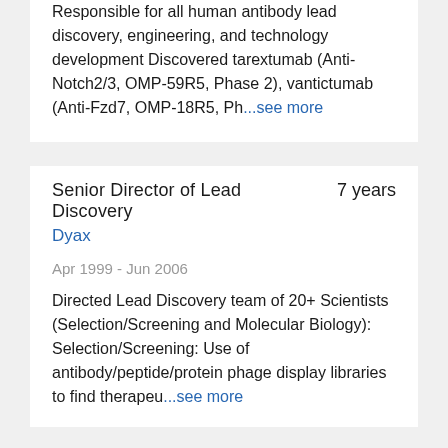Responsible for all human antibody lead discovery, engineering, and technology development Discovered tarextumab (Anti-Notch2/3, OMP-59R5, Phase 2), vantictumab (Anti-Fzd7, OMP-18R5, Ph...see more
Senior Director of Lead Discovery   7 years
Dyax
Apr 1999 - Jun 2006
Directed Lead Discovery team of 20+ Scientists (Selection/Screening and Molecular Biology): Selection/Screening: Use of antibody/peptide/protein phage display libraries to find therapeu...see more